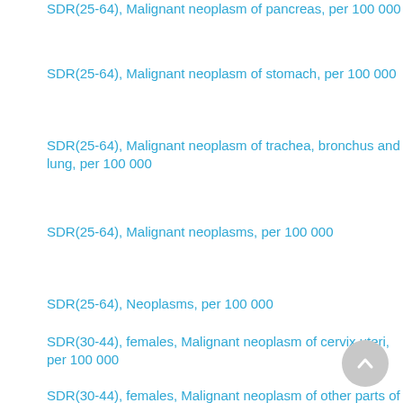SDR(25-64), Malignant neoplasm of pancreas, per 100 000
SDR(25-64), Malignant neoplasm of stomach, per 100 000
SDR(25-64), Malignant neoplasm of trachea, bronchus and lung, per 100 000
SDR(25-64), Malignant neoplasms, per 100 000
SDR(25-64), Neoplasms, per 100 000
SDR(30-44), females, Malignant neoplasm of cervix uteri, per 100 000
SDR(30-44), females, Malignant neoplasm of other parts of uterus, per 100 000